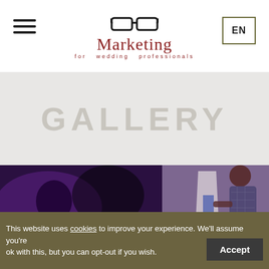[Figure (logo): Marketing for Wedding Professionals logo with glasses icon, hamburger menu icon on left, EN language box on right]
GALLERY
[Figure (photo): A photo strip showing two images: left side shows a purple-lit scene with a silhouette of a person, right side shows a man in a plaid shirt working at an easel or board under stage lighting]
This website uses cookies to improve your experience. We'll assume you're ok with this, but you can opt-out if you wish.